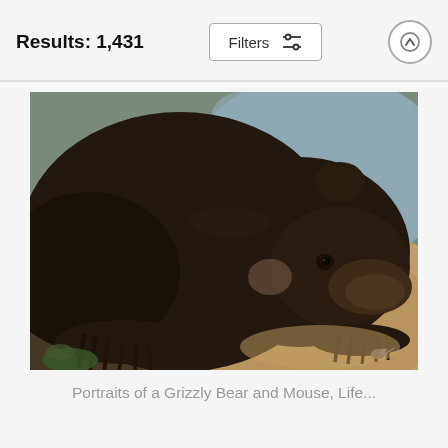Results: 1,431
[Figure (photo): A painting of a large grizzly bear with dark fur, its head lowered close to the ground with claws extended, facing a tiny mouse. The background shows a blue-grey sky and warm brownish earth tones. Classical naturalist oil painting style.]
Portraits of a Grizzly Bear and Mouse, Life...